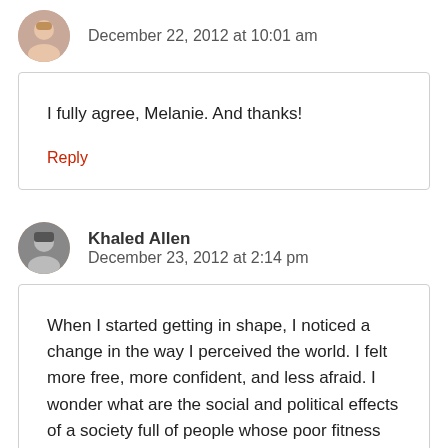December 22, 2012 at 10:01 am
I fully agree, Melanie. And thanks!
Reply
Khaled Allen
December 23, 2012 at 2:14 pm
When I started getting in shape, I noticed a change in the way I perceived the world. I felt more free, more confident, and less afraid. I wonder what are the social and political effects of a society full of people whose poor fitness makes them insecure and afraid.